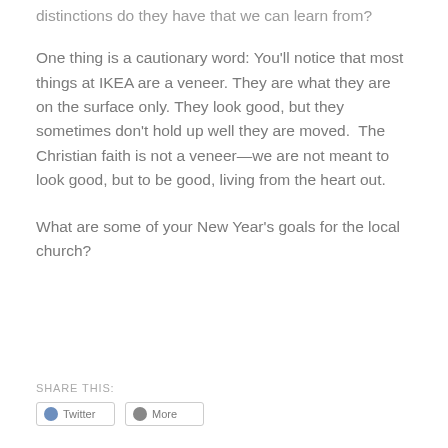distinctions do they have that we can learn from?
One thing is a cautionary word: You’ll notice that most things at IKEA are a veneer. They are what they are on the surface only. They look good, but they sometimes don’t hold up well they are moved.  The Christian faith is not a veneer—we are not meant to look good, but to be good, living from the heart out.
What are some of your New Year’s goals for the local church?
SHARE THIS:
[Figure (other): Two social share buttons partially visible at bottom of page]